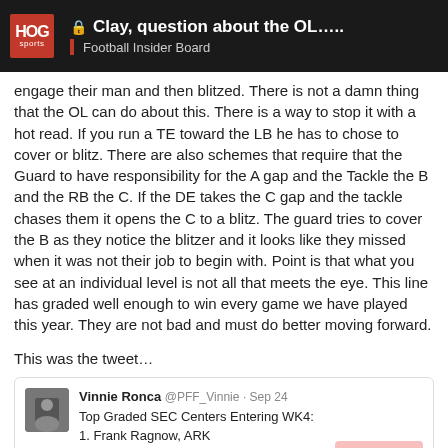Clay, question about the OL….. Football Insider Board
engage their man and then blitzed. There is not a damn thing that the OL can do about this. There is a way to stop it with a hot read. If you run a TE toward the LB he has to chose to cover or blitz. There are also schemes that require that the Guard to have responsibility for the A gap and the Tackle the B and the RB the C. If the DE takes the C gap and the tackle chases them it opens the C to a blitz. The guard tries to cover the B as they notice the blitzer and it looks like they missed when it was not their job to begin with. Point is that what you see at an individual level is not all that meets the eye. This line has graded well enough to win every game we have played this year. They are not bad and must do better moving forward.
This was the tweet…
[Figure (screenshot): Tweet from Vinnie Ronca @PFF_Vinnie Sep 24: Top Graded SEC Centers Entering WK4: 1. Frank Ragnow, ARK 2. Ethan Pocic, LSU 3. Samson Bailey, MIZ with a 9/10 score badge]